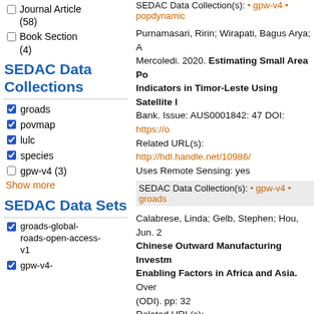Journal Article (58)
Book Section (4)
SEDAC Data Collections
groads [checked]
povmap [checked]
lulc [checked]
species [checked]
gpw-v4 (3) [unchecked]
Show more
SEDAC Data Sets
groads-global-roads-open-access-v1 [checked]
gpw-v4- [checked]
SEDAC Data Collection(s): • gpw-v4 • popdynamic
Purnamasari, Ririn; Wirapati, Bagus Arya; A Mercoledi. 2020. Estimating Small Area Po Indicators in Timor-Leste Using Satellite I Bank. Issue: AUS0001842: 47 DOI: https://... Related URL(s): http://hdl.handle.net/10986/... Uses Remote Sensing: yes
SEDAC Data Collection(s): • gpw-v4 • groads
Calabrese, Linda; Gelb, Stephen; Hou, Jun. 2 Chinese Outward Manufacturing Investm Enabling Factors in Africa and Asia. Over (ODI). pp: 32 Related URL(s): https://www.odi.org/publica chinese-outward-manufacturing…
SEDAC Data Collection(s): • groads
Deshmukh, Ranjit; Wu, Grace; Phadke, Amo Energy Zones for Balancing Siting Trade- criteria Analysis for Planning Renewable